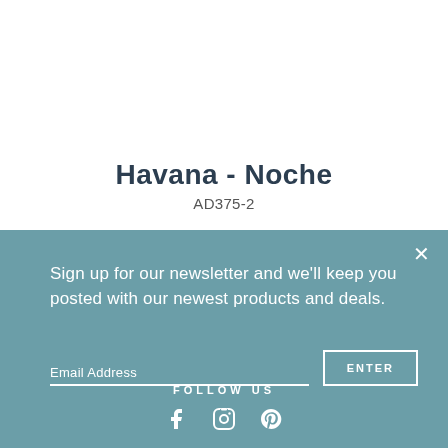Havana - Noche
AD375-2
Sign up for our newsletter and we'll keep you posted with our newest products and deals.
Email Address
ENTER
FOLLOW US